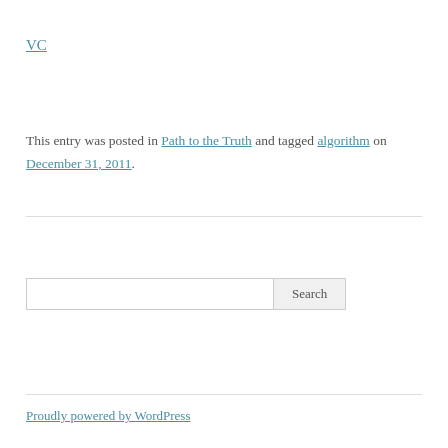VC
This entry was posted in Path to the Truth and tagged algorithm on December 31, 2011.
Search
Proudly powered by WordPress